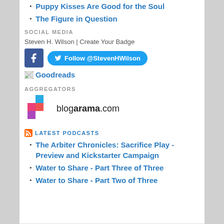Puppy Kisses Are Good for the Soul
The Figure in Question
SOCIAL MEDIA
Steven H. Wilson | Create Your Badge
[Figure (logo): Facebook icon button and Twitter Follow @StevenHWilson button]
Goodreads
AGGREGATORS
[Figure (logo): Blogarama.com logo with colorful squares]
LATEST PODCASTS
The Arbiter Chronicles: Sacrifice Play - Preview and Kickstarter Campaign
Water to Share - Part Three of Three
Water to Share - Part Two of Three